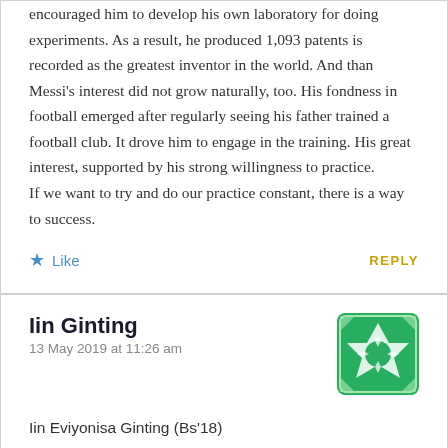encouraged him to develop his own laboratory for doing experiments. As a result, he produced 1,093 patents is recorded as the greatest inventor in the world. And than Messi's interest did not grow naturally, too. His fondness in football emerged after regularly seeing his father trained a football club. It drove him to engage in the training. His great interest, supported by his strong willingness to practice.
If we want to try and do our practice constant, there is a way to success.
Like
REPLY
Iin Ginting
13 May 2019  at 11:26 am
[Figure (illustration): Green and white geometric/decorative avatar icon with diamond and star pattern, rounded square shape]
Iin Eviyonisa Ginting (Bs'18)
I'm so interested with this sentence. "Learning a subject without interest will surely end with failure. Students with a high interest will feel a great loss if they spend time doing something unrelated